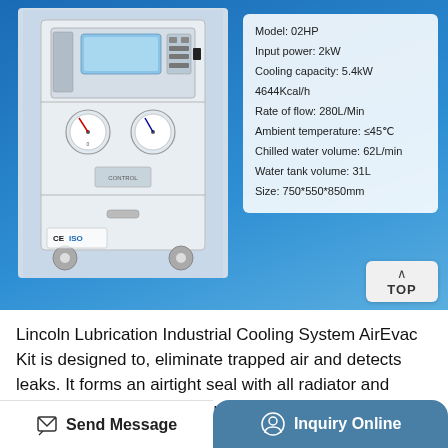[Figure (photo): Industrial cooling system machine (chiller unit) on wheels, white cabinet with control panel, pressure gauges, displayed against blue gradient background. CE and ISO certification logos visible at bottom left of machine.]
Model: 02HP
Input power: 2kW
Cooling capacity: 5.4kW
4644Kcal/h
Rate of flow: 280L/Min
Ambient temperature: ≤45℃
Chilled water volume: 62L/min
Water tank volume: 31L
Size: 750*550*850mm
Lincoln Lubrication Industrial Cooling System AirEvac Kit is designed to, eliminate trapped air and detects leaks. It forms an airtight seal with all radiator and coolant bottle necks and quickly refills automotive cooling systems. This system requires no custom adapters and has a multiple
Send Message
Inquiry Online